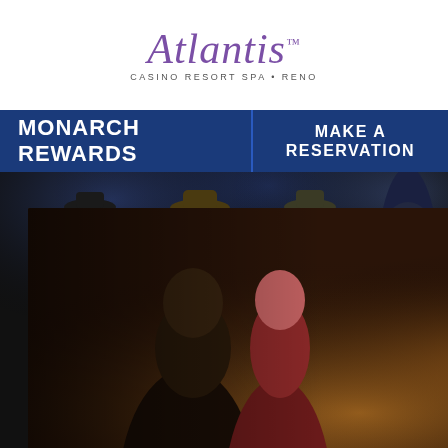[Figure (logo): Atlantis Casino Resort Spa Reno logo - purple italic script with subtitle]
MONARCH REWARDS
MAKE A RESERVATION
[Figure (photo): Background photo of musicians/performers on stage in dark lighting]
[Figure (photo): Popup advertisement showing couple in romantic pose in warm golden light]
LUXURY AWAITS
30% OFF
[Figure (logo): Atlantis Casino Resort Spa Reno logo in popup]
BOOK NOW
e users